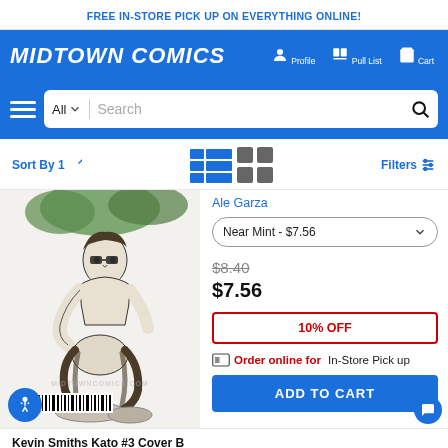FREE IN-STORE PICK UP ON EVERYTHING ONLINE!
[Figure (logo): Midtown Comics logo in white italic bold text on blue background with Profile, Pull List, Cart navigation icons]
[Figure (screenshot): Search bar with All dropdown and Search placeholder, hamburger menu icon]
Sort By 1↑
[Figure (screenshot): View toggle icons - list view and grid view]
Filters
Ale Garza
Near Mint - $7.56
$8.40
$7.56
10% OFF
Order online for In-Store Pick up
ADD TO CART
[Figure (illustration): Black and white comic book cover art showing two figures, one person holding another, with barcode at bottom. Watermark: MIDTOWNCOMICS.COM]
Kevin Smiths Kato #3 Cover B